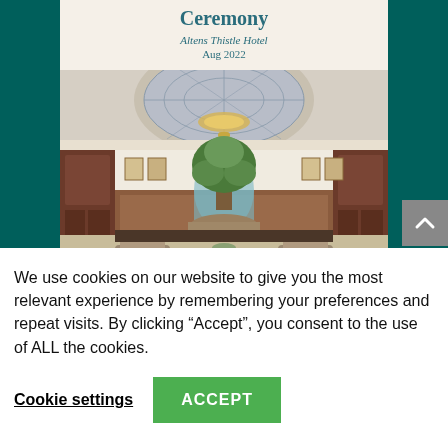Ceremony
Altens Thistle Hotel
Aug 2022
[Figure (photo): Hotel lobby interior with glass dome ceiling, chandelier, central tree display, reception desk, and seating area]
We use cookies on our website to give you the most relevant experience by remembering your preferences and repeat visits. By clicking “Accept”, you consent to the use of ALL the cookies.
Cookie settings
ACCEPT